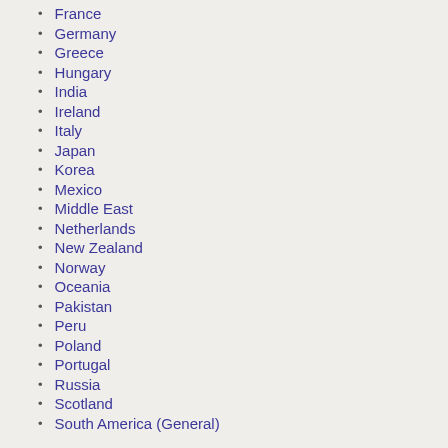France
Germany
Greece
Hungary
India
Ireland
Italy
Japan
Korea
Mexico
Middle East
Netherlands
New Zealand
Norway
Oceania
Pakistan
Peru
Poland
Portugal
Russia
Scotland
South America (General)